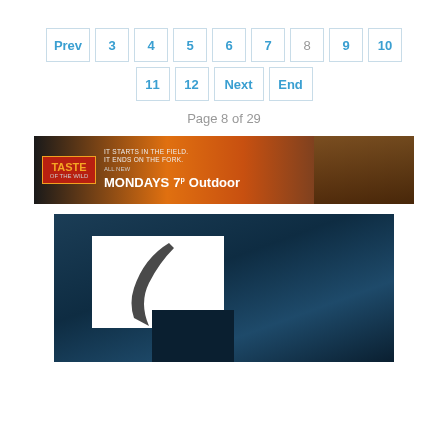Prev 3 4 5 6 7 8 9 10 11 12 Next End
Page 8 of 29
[Figure (photo): Advertisement banner for Taste of the Wild show: 'It starts in the field. It ends on the fork. All new Mondays 7p Outdoor' with group photo of hunters]
[Figure (photo): Dark teal/blue background image with a white rectangle containing a large curved slash or bird wing shape, partial view]